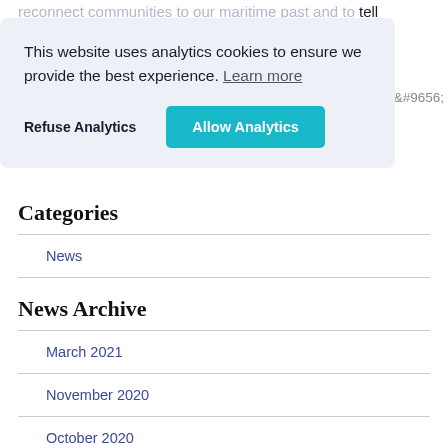reconnect communities to our maritime past and to tell
[Figure (screenshot): Cookie consent banner with text 'This website uses analytics cookies to ensure we provide the best experience. Learn more' and two buttons: 'Refuse Analytics' and 'Allow Analytics']
Articles ▶
Categories
News
News Archive
March 2021
November 2020
October 2020